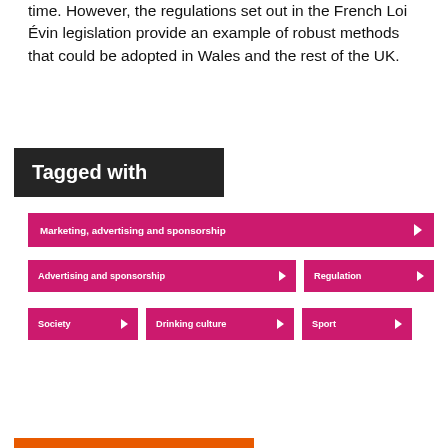time. However, the regulations set out in the French Loi Évin legislation provide an example of robust methods that could be adopted in Wales and the rest of the UK.
Tagged with
Marketing, advertising and sponsorship
Advertising and sponsorship
Regulation
Society
Drinking culture
Sport